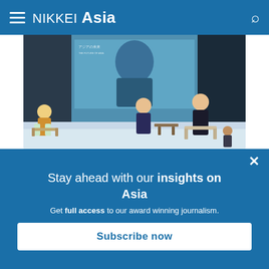NIKKEI Asia
[Figure (photo): Conference stage with speakers on screen and panel discussion, audience members seated on stage]
-- Global coronavirus tracker charts
-- Status of vaccinations around the world
Stay ahead with our insights on Asia
Get full access to our award winning journalism.
Subscribe now